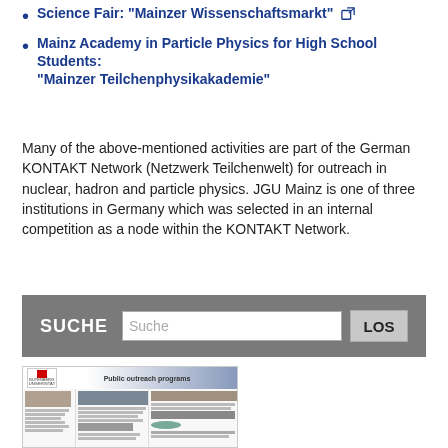Science Fair: "Mainzer Wissenschaftsmarkt" [external link]
Mainz Academy in Particle Physics for High School Students: "Mainzer Teilchenphysikakademie"
Many of the above-mentioned activities are part of the German KONTAKT Network (Netzwerk Teilchenwelt) for outreach in nuclear, hadron and particle physics. JGU Mainz is one of three institutions in Germany which was selected in an internal competition as a node within the KONTAKT Network.
[Figure (screenshot): Search bar interface with label SUCHE, input field with placeholder Suche, and button LOS]
[Figure (screenshot): Webpage screenshot showing JGU Mainz Public outreach programs page with photos of activities, text sections about Academy in Particle Physics, public lecture series, reaching out to primary and high schools, Guinness World Records, KONTAKT network, Physics on Saturday, and science tips]